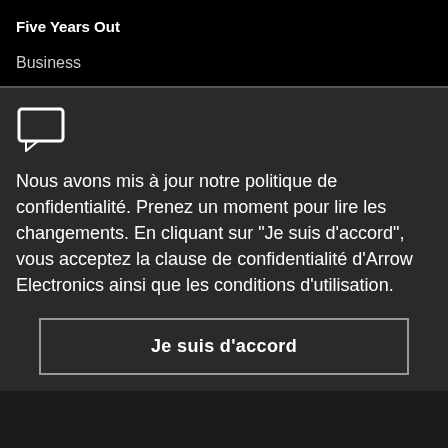Five Years Out
Business
[Figure (illustration): Speech bubble / comment icon outline in white]
Nous avons mis à jour notre politique de confidentialité. Prenez un moment pour lire les changements. En cliquant sur "Je suis d'accord", vous acceptez la clause de confidentialité d'Arrow Electronics ainsi que les conditions d'utilisation.
Je suis d'accord